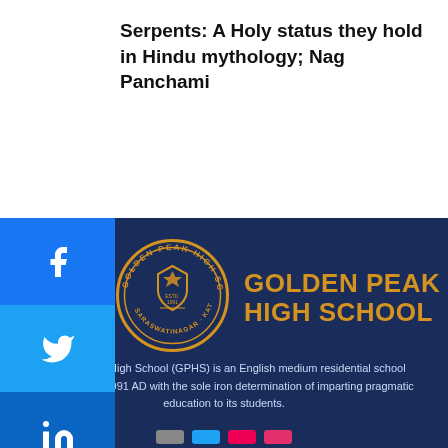Serpents: A Holy status they hold in Hindu mythology; Nag Panchami
[Figure (logo): Golden Peak High School circular emblem logo with star and shield, surrounded by text 'GOLDEN PEAK HIGH SCHOOL' and 'SARASWATINAGAR KATHMANDU']
GOLDEN PEAK HIGH SCHOOL
Golden Peak High School (GPHS) is an English medium residential school established in 1991 AD with the sole iron determination of imparting pragmatic education to its students.